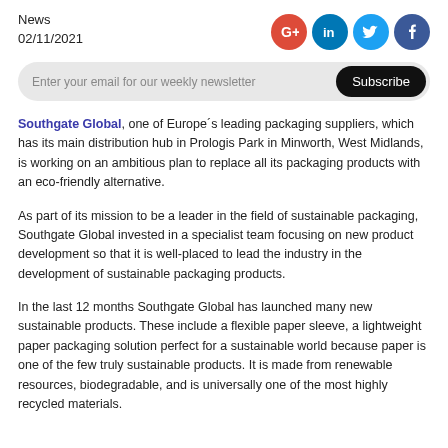News
02/11/2021
[Figure (illustration): Four social media icons (Google+, LinkedIn, Twitter, Facebook) arranged horizontally in circles]
[Figure (screenshot): Email subscription bar with placeholder text 'Enter your email for our weekly newsletter' and a black Subscribe button]
Southgate Global, one of Europe´s leading packaging suppliers, which has its main distribution hub in Prologis Park in Minworth, West Midlands, is working on an ambitious plan to replace all its packaging products with an eco-friendly alternative.
As part of its mission to be a leader in the field of sustainable packaging, Southgate Global invested in a specialist team focusing on new product development so that it is well-placed to lead the industry in the development of sustainable packaging products.
In the last 12 months Southgate Global has launched many new sustainable products. These include a flexible paper sleeve, a lightweight paper packaging solution perfect for a sustainable world because paper is one of the few truly sustainable products. It is made from renewable resources, biodegradable, and is universally one of the most highly recycled materials.